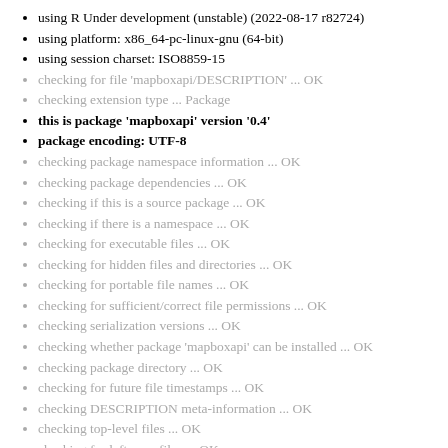using R Under development (unstable) (2022-08-17 r82724)
using platform: x86_64-pc-linux-gnu (64-bit)
using session charset: ISO8859-15
checking for file 'mapboxapi/DESCRIPTION' ... OK
checking extension type ... Package
this is package 'mapboxapi' version '0.4'
package encoding: UTF-8
checking package namespace information ... OK
checking package dependencies ... OK
checking if this is a source package ... OK
checking if there is a namespace ... OK
checking for executable files ... OK
checking for hidden files and directories ... OK
checking for portable file names ... OK
checking for sufficient/correct file permissions ... OK
checking serialization versions ... OK
checking whether package 'mapboxapi' can be installed ... OK
checking package directory ... OK
checking for future file timestamps ... OK
checking DESCRIPTION meta-information ... OK
checking top-level files ... OK
checking for left-over files ... OK
checking index information ... OK